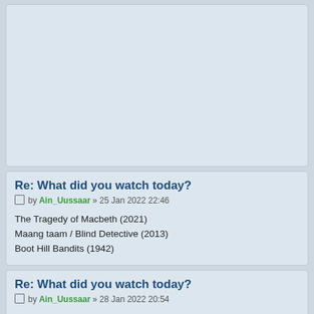(top post continuation — empty content area)
Re: What did you watch today?
by Ain_Uussaar » 25 Jan 2022 22:46
The Tragedy of Macbeth (2021)
Maang taam / Blind Detective (2013)
Boot Hill Bandits (1942)
Re: What did you watch today?
by Ain_Uussaar » 28 Jan 2022 20:54
Reno 911!: The Hunt for QAnon (2021)
Town Tamer (1965)
Sangarid / The Dissidents (2017)
Re: What did you watch today?
by Ain_Uussaar » 29 Jan 2022 22:29
Repentance (2013)